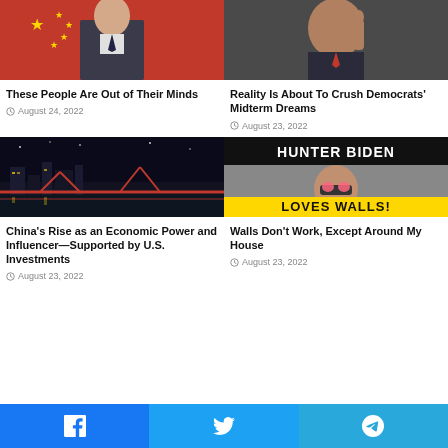[Figure (photo): Man in suit with Chinese flag background]
These People Are Out of Their Minds
August 24, 2022
[Figure (photo): Older man pointing finger, wearing suit and red tie]
Reality Is About To Crush Democrats' Midterm Dreams
August 23, 2022
[Figure (photo): Nighttime city skyline with bridge and river reflections]
China's Rise as an Economic Power and Influencer—Supported by U.S. Investments
August 23, 2022
[Figure (photo): Hunter Biden Loves Walls! meme image with man wearing heart sunglasses]
Walls Don't Work, Except Around My House
August 23, 2022